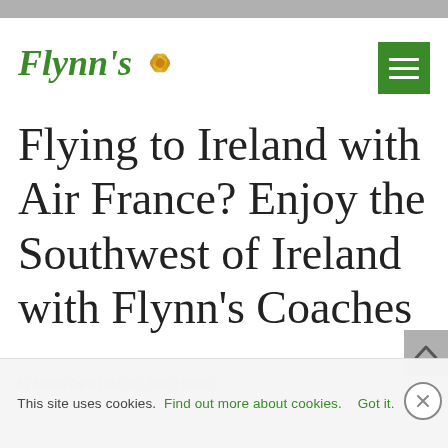[Figure (logo): Flynn's Coaches logo with italic green text and a stylized hop/flower icon in gold/yellow]
Flying to Ireland with Air France? Enjoy the Southwest of Ireland with Flynn's Coaches
by Kieran Flynn | Mar 25, 2018 | News |
This site uses cookies. Find out more about cookies. Got it.